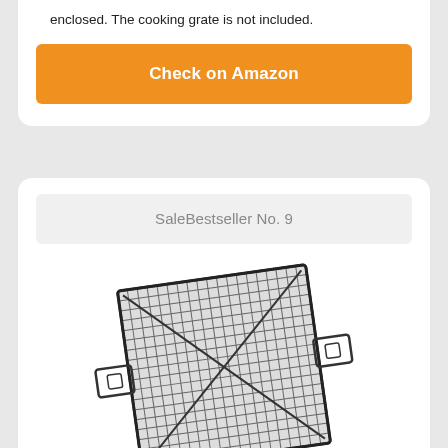enclosed. The cooking grate is not included.
Check on Amazon
SaleBestseller No. 9
[Figure (illustration): A square cooking grate/grid with crosshatch mesh pattern and two side handles, shown at a slight angle. The grate is dark/black colored with a metal frame.]